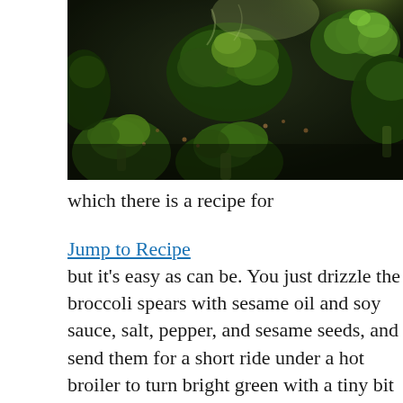[Figure (photo): Close-up photo of roasted broccoli florets with visible seasoning and char marks, dark moody lighting.]
which there is a recipe for
Jump to Recipe
but it’s easy as can be. You just drizzle the broccoli spears with sesame oil and soy sauce, salt, pepper, and sesame seeds, and send them for a short ride under a hot broiler to turn bright green with a tiny bit of char.